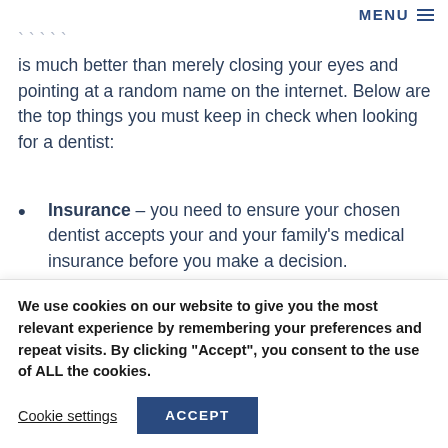MENU
is much better than merely closing your eyes and pointing at a random name on the internet. Below are the top things you must keep in check when looking for a dentist:
Insurance – you need to ensure your chosen dentist accepts your and your family's medical insurance before you make a decision.
Average wait times – call the dentist's office and ask
We use cookies on our website to give you the most relevant experience by remembering your preferences and repeat visits. By clicking "Accept", you consent to the use of ALL the cookies.
Cookie settings | ACCEPT